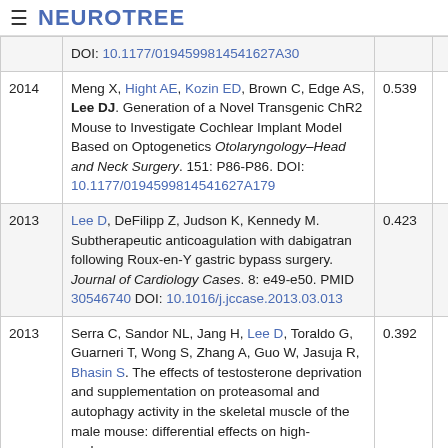NEUROTREE
| Year | Reference | Score |  |
| --- | --- | --- | --- |
|  | DOI: 10.1177/0194599814541627A30 |  |  |
| 2014 | Meng X, Hight AE, Kozin ED, Brown C, Edge AS, Lee DJ. Generation of a Novel Transgenic ChR2 Mouse to Investigate Cochlear Implant Model Based on Optogenetics Otolaryngology–Head and Neck Surgery. 151: P86-P86. DOI: 10.1177/0194599814541627A179 | 0.539 |  |
| 2013 | Lee D, DeFilipp Z, Judson K, Kennedy M. Subtherapeutic anticoagulation with dabigatran following Roux-en-Y gastric bypass surgery. Journal of Cardiology Cases. 8: e49-e50. PMID 30546740 DOI: 10.1016/j.jccase.2013.03.013 | 0.423 |  |
| 2013 | Serra C, Sandor NL, Jang H, Lee D, Toraldo G, Guarneri T, Wong S, Zhang A, Guo W, Jasuja R, Bhasin S. The effects of testosterone deprivation and supplementation on proteasomal and autophagy activity in the skeletal muscle of the male mouse: differential effects on high-androgen | 0.392 |  |